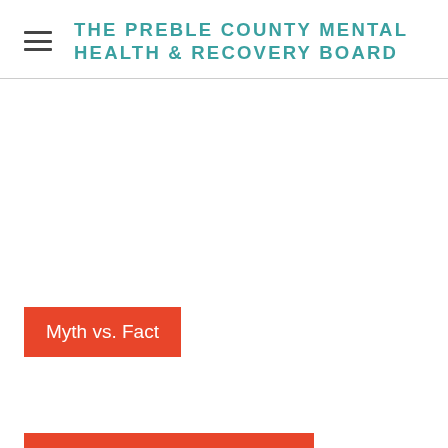THE PREBLE COUNTY MENTAL HEALTH & RECOVERY BOARD
Myth vs. Fact